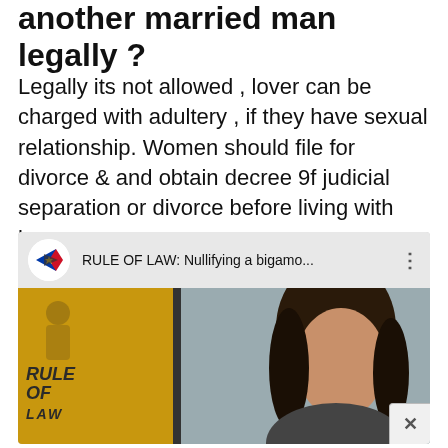another married man legally ?
Legally its not allowed , lover can be charged with adultery , if they have sexual relationship. Women should file for divorce & and obtain decree 9f judicial separation or divorce before living with lover.
[Figure (screenshot): YouTube video thumbnail showing 'RULE OF LAW: Nullifying a bigamo...' with a Philippine flag logo icon and a woman presenter on the right side of the frame. A golden/yellow panel on the left shows 'RULE OF LAW' text. A close (X) button is in the bottom-right corner.]